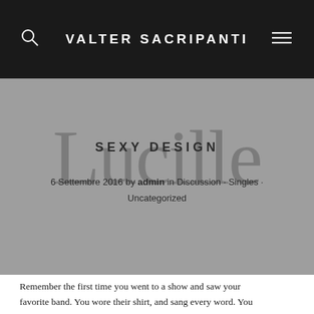VALTER SACRIPANTI
SEXY DESIGN
6 Settembre 2016 by admin in Discussion · Singles · Uncategorized
Remember the first time you went to a show and saw your favorite band. You wore their shirt, and sang every word. You